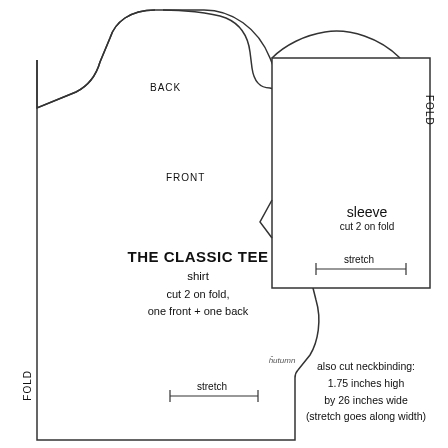[Figure (schematic): Sewing pattern pieces for The Classic Tee: a shirt front/back body piece on the left (labeled BACK at top, FRONT below, with FOLD on left side), and a sleeve piece on the right (labeled FOLD on right side). Both pieces show cutting lines with stretch direction arrows.]
THE CLASSIC TEE
shirt
cut 2 on fold,
one front + one back
sleeve
cut 2 on fold
stretch
stretch
FOLD
FOLD
BACK
FRONT
also cut neckbinding:
1.75 inches high
by 26 inches wide
(stretch goes along width)